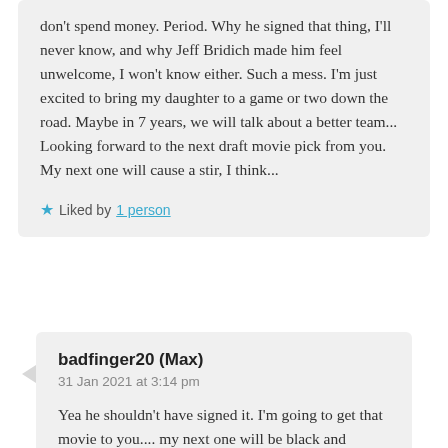don't spend money. Period. Why he signed that thing, I'll never know, and why Jeff Bridich made him feel unwelcome, I won't know either. Such a mess. I'm just excited to bring my daughter to a game or two down the road. Maybe in 7 years, we will talk about a better team... Looking forward to the next draft movie pick from you. My next one will cause a stir, I think...
★ Liked by 1 person
badfinger20 (Max)
31 Jan 2021 at 3:14 pm
Yea he shouldn't have signed it. I'm going to get that movie to you.... my next one will be black and